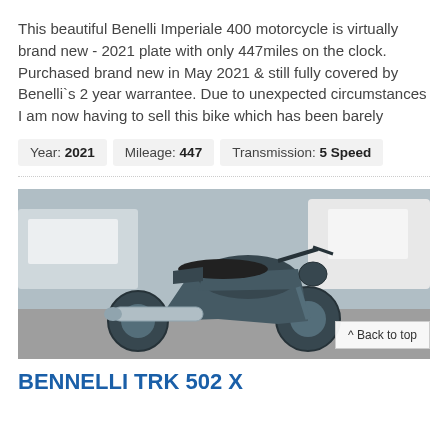This beautiful Benelli Imperiale 400 motorcycle is virtually brand new - 2021 plate with only 447miles on the clock. Purchased brand new in May 2021 & still fully covered by Benelli`s 2 year warrantee. Due to unexpected circumstances I am now having to sell this bike which has been barely
| Year: 2021 | Mileage: 447 | Transmission: 5 Speed |
[Figure (photo): Photo of a dark blue/grey Benelli motorcycle parked outdoors with cars visible in background. A silver exhaust is visible on the left side. A 'Back to top' button overlays the bottom right corner.]
BENNELLI TRK 502 X